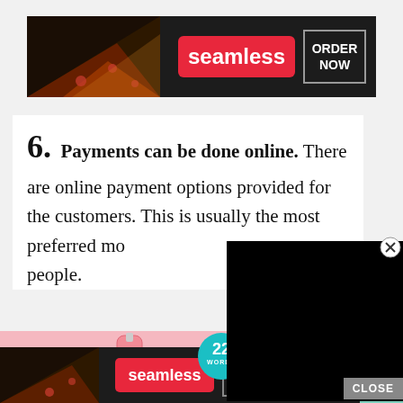[Figure (screenshot): Seamless food delivery ad banner at top: pizza image on left, red 'seamless' badge in center, 'ORDER NOW' button in white border on right, dark background]
6. Payments can be done online. There are online payment options provided for the customers. This is usually the most preferred mode of payment for many people.
[Figure (photo): Mario Badescu skincare product spray bottles on pink and mint green background with '22 WORDS' cyan badge overlay]
[Figure (screenshot): Black video/popup overlay partially covering the beauty ad]
[Figure (screenshot): Seamless food delivery ad banner at bottom: same as top ad, smaller version]